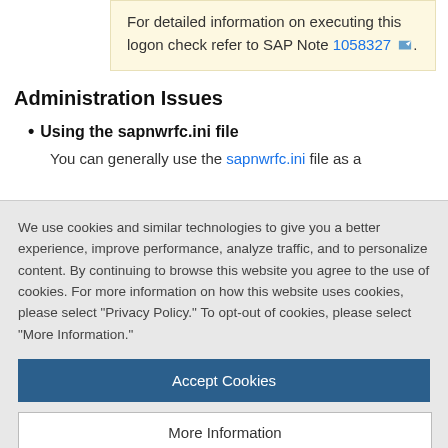For detailed information on executing this logon check refer to SAP Note 1058327.
Administration Issues
Using the sapnwrfc.ini file
You can generally use the sapnwrfc.ini file as a
We use cookies and similar technologies to give you a better experience, improve performance, analyze traffic, and to personalize content. By continuing to browse this website you agree to the use of cookies. For more information on how this website uses cookies, please select “Privacy Policy.” To opt-out of cookies, please select “More Information.”
Accept Cookies
More Information
Privacy Policy | Powered by: TrustArc
gateway information may also be affected.